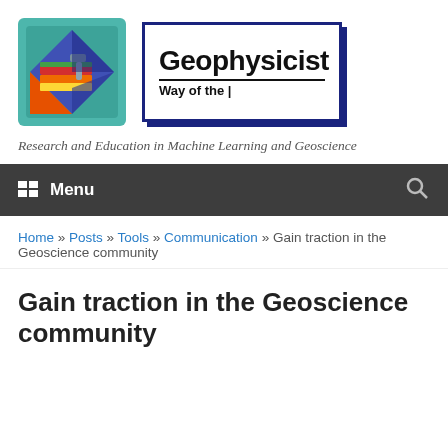[Figure (logo): Way of the Geophysicist logo: teal square with geometric shapes (diamond, colored bars) icon on left, and text box with bold 'Geophysicist' and 'Way of the' subtitle on right]
Research and Education in Machine Learning and Geoscience
Menu
Home » Posts » Tools » Communication » Gain traction in the Geoscience community
Gain traction in the Geoscience community